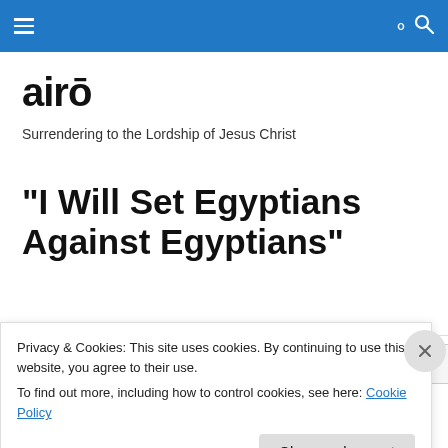airō navigation bar
airō
Surrendering to the Lordship of Jesus Christ
"I Will Set Egyptians Against Egyptians"
Privacy & Cookies: This site uses cookies. By continuing to use this website, you agree to their use.
To find out more, including how to control cookies, see here: Cookie Policy
Close and accept